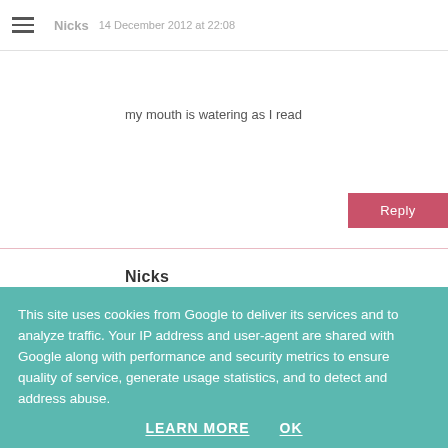Nicks | 14 December 2012 at 22:08
my mouth is watering as I read
Reply
Nicks
14 December 2012 at 22:13
MMMmmmm going to try the Gratin of sprouts
Reply
This site uses cookies from Google to deliver its services and to analyze traffic. Your IP address and user-agent are shared with Google along with performance and security metrics to ensure quality of service, generate usage statistics, and to detect and address abuse.
LEARN MORE  OK